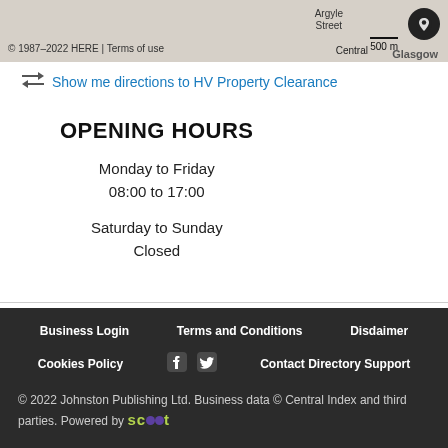[Figure (map): Map strip showing Glasgow area with HERE copyright notice, scale bar (500 m), and street labels. © 1987–2022 HERE | Terms of use, Argyle Street, Central, Glasgow labels visible.]
Show me directions to HV Property Clearance
OPENING HOURS
Monday to Friday
08:00 to 17:00
Saturday to Sunday
Closed
Business Login   Terms and Conditions   Disclaimer   Cookies Policy   Contact Directory Support   © 2022 Johnston Publishing Ltd. Business data © Central Index and third parties. Powered by scoot